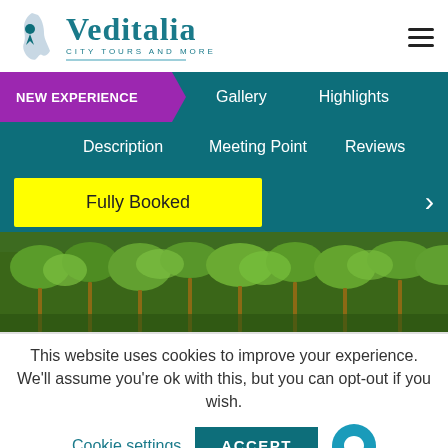[Figure (logo): Veditalia logo with Italy map icon and tagline 'CITY TOURS AND MORE']
[Figure (other): Hamburger menu icon (three horizontal bars)]
NEW EXPERIENCE
Gallery
Highlights
Description
Meeting Point
Reviews
Fully Booked
[Figure (photo): Vineyard with green vines and trees]
This website uses cookies to improve your experience. We'll assume you're ok with this, but you can opt-out if you wish.
Cookie settings
ACCEPT